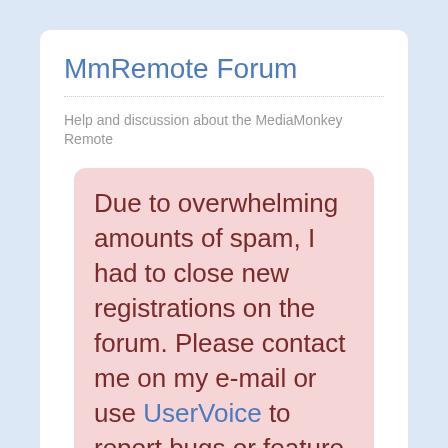MmRemote Forum
Help and discussion about the MediaMonkey Remote
Due to overwhelming amounts of spam, I had to close new registrations on the forum. Please contact me on my e-mail or use UserVoice to report bugs or feature